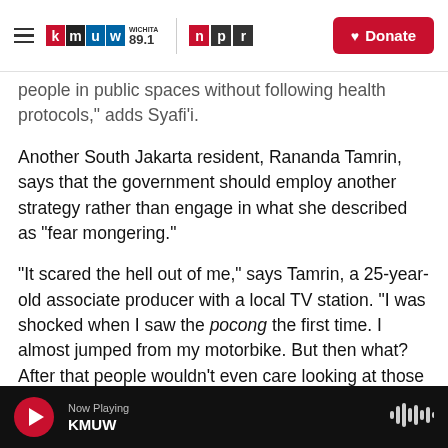KMUW WICHITA 89.1 | NPR | Donate
people in public spaces without following health protocols," adds Syafi'i.
Another South Jakarta resident, Rananda Tamrin, says that the government should employ another strategy rather than engage in what she described as "fear mongering."
"It scared the hell out of me," says Tamrin, a 25-year-old associate producer with a local TV station. "I was shocked when I saw the pocong the first time. I almost jumped from my motorbike. But then what? After that people wouldn't even care looking at those [coffins]."
Now Playing KMUW